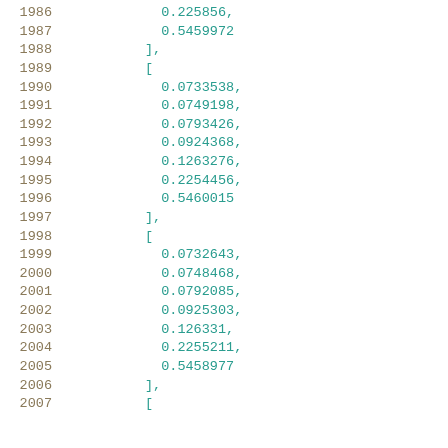1986    0.225856,
1987    0.5459972
1988  ],
1989  [
1990    0.0733538,
1991    0.0749198,
1992    0.0793426,
1993    0.0924368,
1994    0.1263276,
1995    0.2254456,
1996    0.5460015
1997  ],
1998  [
1999    0.0732643,
2000    0.0748468,
2001    0.0792085,
2002    0.0925303,
2003    0.126331,
2004    0.2255211,
2005    0.5458977
2006  ],
2007  [